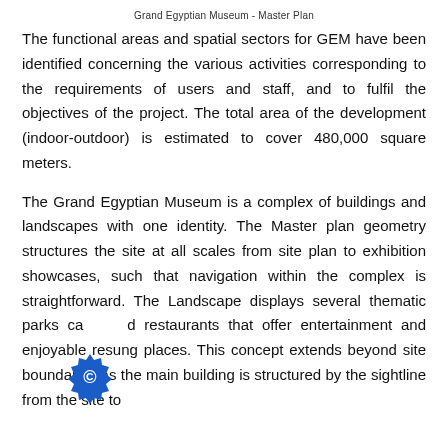Grand Egyptian Museum -  Master Plan
The functional areas and spatial sectors for GEM have been identified concerning the various activities corresponding to the requirements of users and staff, and to fulfil the objectives of the project. The total area of the development (indoor-outdoor) is estimated to cover 480,000 square meters.
The Grand Egyptian Museum is a complex of buildings and landscapes with one identity. The Master plan geometry structures the site at all scales from site plan to exhibition showcases, such that navigation within the complex is straightforward. The Landscape displays several thematic parks ca d restaurants that offer entertainment and enjoyable resung places. This concept extends beyond site boundaries as the main building is structured by the sightline from the site to